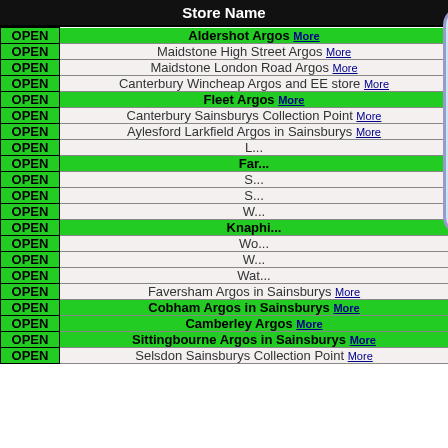|  | Store Name |
| --- | --- |
| OPEN | Aldershot Argos More |
| OPEN | Maidstone High Street Argos More |
| OPEN | Maidstone London Road Argos More |
| OPEN | Canterbury Wincheap Argos and EE store More |
| OPEN | Fleet Argos More |
| OPEN | Canterbury Sainsburys Collection Point More |
| OPEN | Aylesford Larkfield Argos in Sainsburys More |
| OPEN | L... |
| OPEN | Far... (Farnborough?) |
| OPEN | S... |
| OPEN | S... |
| OPEN | W... |
| OPEN | Knaphi... |
| OPEN | Wo... |
| OPEN | W... |
| OPEN | Wat... |
| OPEN | Faversham Argos in Sainsburys More |
| OPEN | Cobham Argos in Sainsburys More |
| OPEN | Camberley Argos More |
| OPEN | Sittingbourne Argos in Sainsburys More |
| OPEN | Selsdon Sainsburys Collection Point More |
[Figure (screenshot): Modal popup with light blue background and purple border showing: X close button, NEW!! NEW!! Click on RESERVE NOW and you will automatically have the corresponding Argos store chosen for you on the Argos website! This will auto close in 1 seconds]